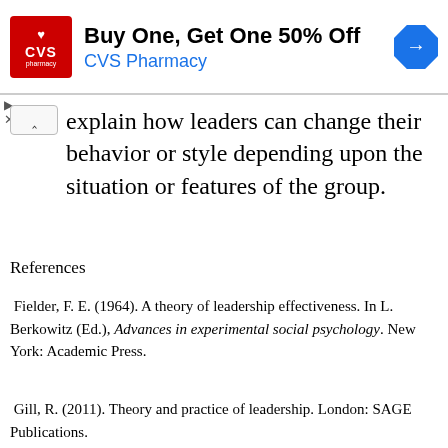[Figure (other): CVS Pharmacy advertisement banner: Buy One, Get One 50% Off]
explain how leaders can change their behavior or style depending upon the situation or features of the group.
References
Fielder, F. E. (1964). A theory of leadership effectiveness. In L. Berkowitz (Ed.), Advances in experimental social psychology. New York: Academic Press.
Gill, R. (2011). Theory and practice of leadership. London: SAGE Publications.